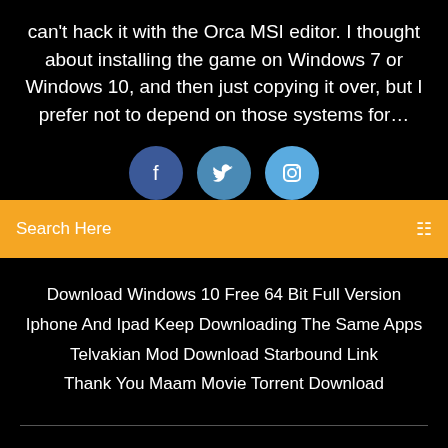can't hack it with the Orca MSI editor. I thought about installing the game on Windows 7 or Windows 10, and then just copying it over, but I prefer not to depend on those systems for…
[Figure (illustration): Three social media icon buttons: Facebook (dark blue circle), Twitter (medium blue circle), Instagram (light blue circle), partially visible cut off by the search bar]
Search Here
Download Windows 10 Free 64 Bit Full Version
Iphone And Ipad Keep Downloading The Same Apps
Telvakian Mod Download Starbound Link
Thank You Maam Movie Torrent Download
Copyright ©2022 All rights reserved